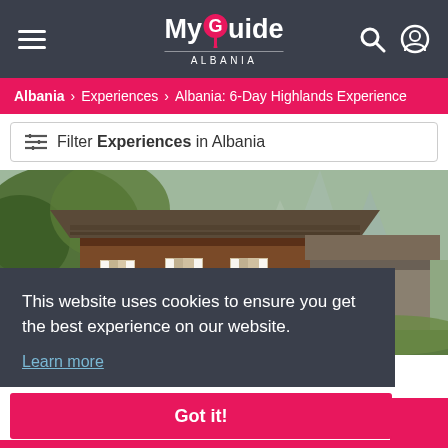MyGuide ALBANIA
Albania > Experiences > Albania: 6-Day Highlands Experience
Filter Experiences in Albania
[Figure (photo): Wooden highland guesthouse with stone roof surrounded by trees and mountain cliffs in Albania]
This website uses cookies to ensure you get the best experience on our website. Learn more
Got it!